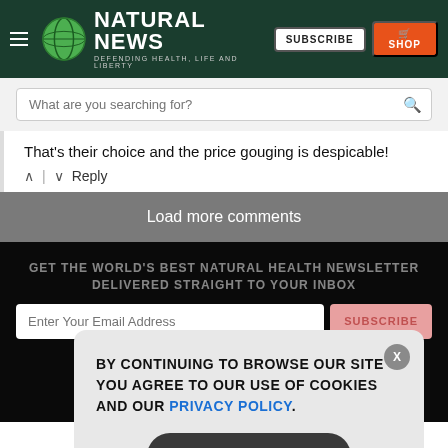Natural News — DEFENDING HEALTH, LIFE AND LIBERTY
What are you searching for?
That's their choice and the price gouging is despicable!
Load more comments
GET THE WORLD'S BEST NATURAL HEALTH NEWSLETTER DELIVERED STRAIGHT TO YOUR INBOX
Enter Your Email Address
BY CONTINUING TO BROWSE OUR SITE YOU AGREE TO OUR USE OF COOKIES AND OUR PRIVACY POLICY.
Agree and close